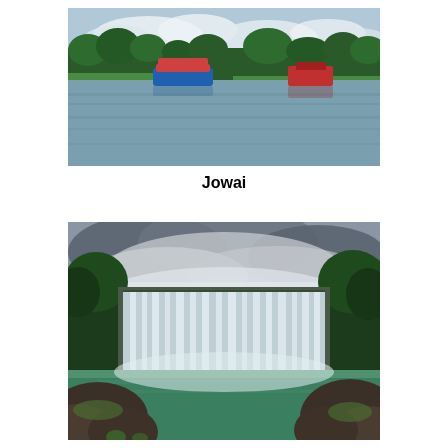[Figure (photo): A calm lake or reservoir with boats floating on it, including a blue and red vessel, surrounded by green trees and grass under a partly cloudy sky.]
Jowai
[Figure (photo): A wide waterfall cascading over a rocky cliff into a green pool below, surrounded by lush green forest and dramatic cloudy skies.]